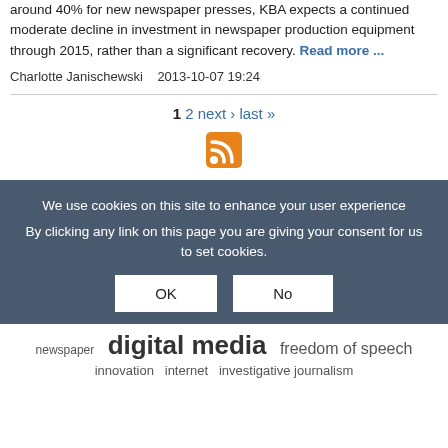around 40% for new newspaper presses, KBA expects a continued moderate decline in investment in newspaper production equipment through 2015, rather than a significant recovery. Read more ...
Charlotte Janischewski   2013-10-07 19:24
1 2 next › last »
[Figure (other): RSS feed icon]
We use cookies on this site to enhance your user experience
By clicking any link on this page you are giving your consent for us to set cookies.
OK  No
newspaper  digital media  freedom of speech  innovation  internet  investigative journalism